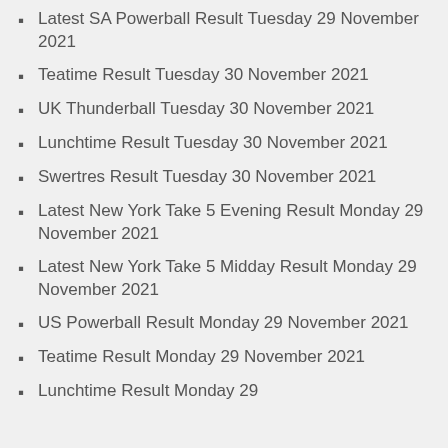Latest SA Powerball Result Tuesday 29 November 2021
Teatime Result Tuesday 30 November 2021
UK Thunderball Tuesday 30 November 2021
Lunchtime Result Tuesday 30 November 2021
Swertres Result Tuesday 30 November 2021
Latest New York Take 5 Evening Result Monday 29 November 2021
Latest New York Take 5 Midday Result Monday 29 November 2021
US Powerball Result Monday 29 November 2021
Teatime Result Monday 29 November 2021
Lunchtime Result Monday 29